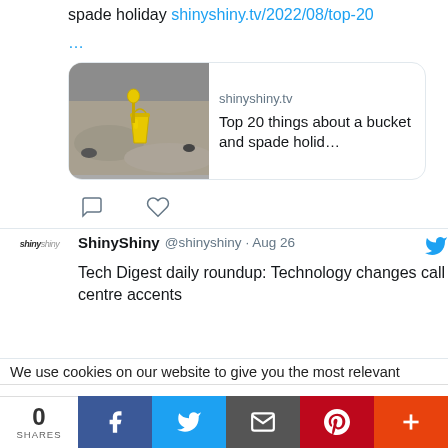spade holiday shinyshiny.tv/2022/08/top-20
…
[Figure (screenshot): Link preview card showing shinyshiny.tv with beach bucket and spade image. Title: Top 20 things about a bucket and spade holid…]
ShinyShiny @shinyshiny · Aug 26
Tech Digest daily roundup: Technology changes call centre accents
We use cookies on our website to give you the most relevant
Privacy & Cookies: This site uses cookies. By continuing to use this website, you agree to their use.
To find out more, including how to control cookies, see here: Cookie Policy
0 SHARES | Facebook | Twitter | Email | Pinterest | More